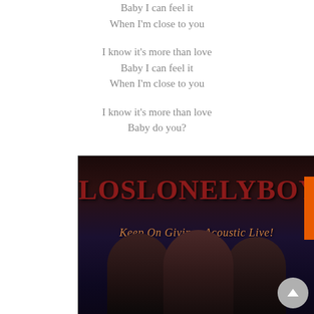Baby I can feel it
When I'm close to you
I know it's more than love
Baby I can feel it
When I'm close to you
I know it's more than love
Baby do you?
[Figure (photo): Album cover photo for Los Lonely Boys 'Keep On Giving: Acoustic Live!' showing the band name in large dark red gothic letters at the top, the album subtitle in orange cursive script, and three band members in dim stage lighting at the bottom of the image.]